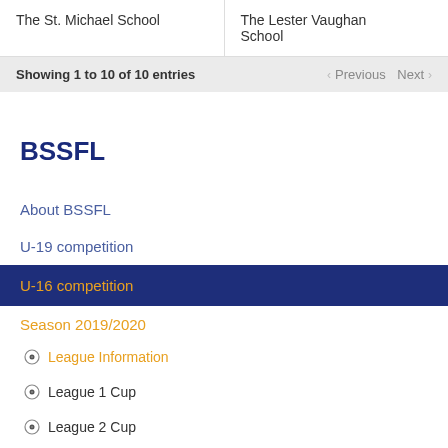| The St. Michael School | The Lester Vaughan School |
Showing 1 to 10 of 10 entries
BSSFL
About BSSFL
U-19 competition
U-16 competition
Season 2019/2020
League Information
League 1 Cup
League 2 Cup